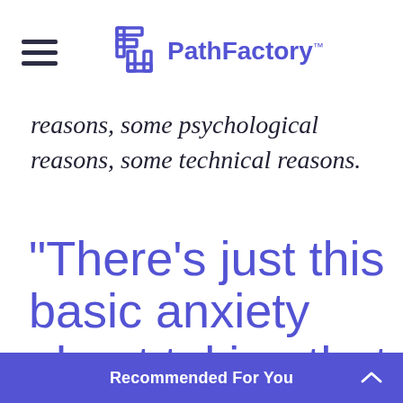PathFactory
reasons, some psychological reasons, some technical reasons.
“There’s just this basic anxiety about taking that
Recommended For You